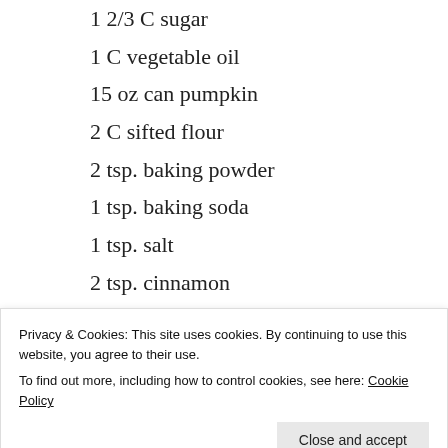1 2/3 C sugar
1 C vegetable oil
15 oz can pumpkin
2 C sifted flour
2 tsp. baking powder
1 tsp. baking soda
1 tsp. salt
2 tsp. cinnamon
[Figure (screenshot): Advertisement banner: dark background with bonsai tree icon and teal text 'Launch your online course with WordPress']
Cream Cheese Frosting
Privacy & Cookies: This site uses cookies. By continuing to use this website, you agree to their use.
To find out more, including how to control cookies, see here: Cookie Policy